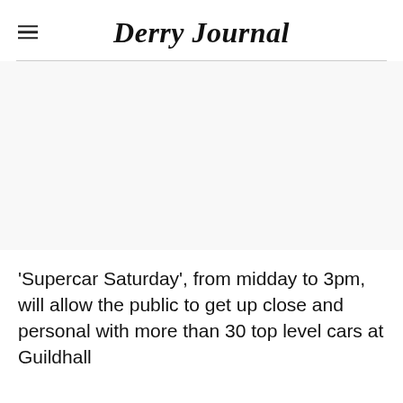Derry Journal
[Figure (photo): Large image area (white/blank) below the masthead header]
'Supercar Saturday', from midday to 3pm, will allow the public to get up close and personal with more than 30 top level cars at Guildhall